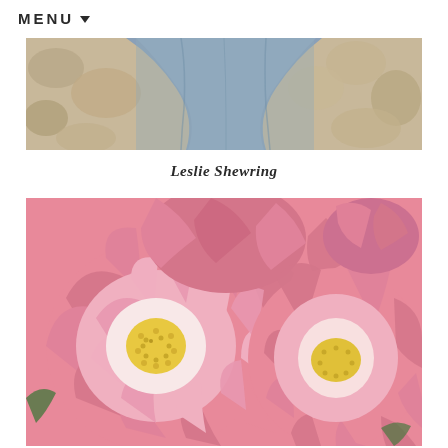MENU ▾
[Figure (photo): Partial view of a person wearing a blue/grey fuzzy sweater, lying on a stone/pebble surface, photographed from behind/above]
Leslie Shewring
[Figure (photo): Close-up photograph of large pink peony flowers with yellow centers, filling the entire frame]